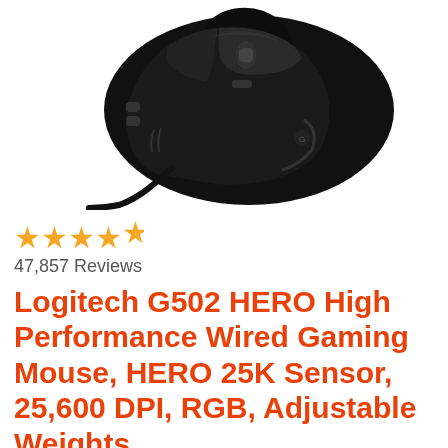[Figure (photo): Photo of Logitech G502 HERO gaming mouse, black, wired, viewed from above-side angle against white background]
★★★★½  47,857 Reviews
Logitech G502 HERO High Performance Wired Gaming Mouse, HERO 25K Sensor, 25,600 DPI, RGB, Adjustable Weights,